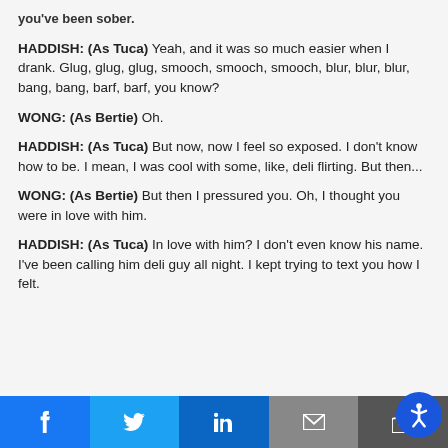you've been sober.
HADDISH: (As Tuca) Yeah, and it was so much easier when I drank. Glug, glug, glug, smooch, smooch, smooch, blur, blur, blur, bang, bang, barf, barf, you know?
WONG: (As Bertie) Oh.
HADDISH: (As Tuca) But now, now I feel so exposed. I don't know how to be. I mean, I was cool with some, like, deli flirting. But then...
WONG: (As Bertie) But then I pressured you. Oh, I thought you were in love with him.
HADDISH: (As Tuca) In love with him? I don't even know his name. I've been calling him deli guy all night. I kept trying to text you how I felt.
Share buttons: Facebook, Twitter, LinkedIn, Email, Accessibility